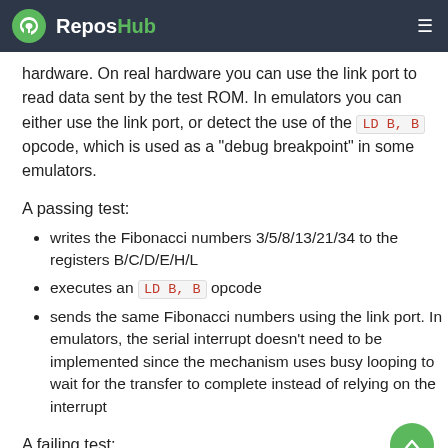ReposHub
hardware. On real hardware you can use the link port to read data sent by the test ROM. In emulators you can either use the link port, or detect the use of the LD B, B opcode, which is used as a "debug breakpoint" in some emulators.
A passing test:
writes the Fibonacci numbers 3/5/8/13/21/34 to the registers B/C/D/E/H/L
executes an LD B, B opcode
sends the same Fibonacci numbers using the link port. In emulators, the serial interrupt doesn't need to be implemented since the mechanism uses busy looping to wait for the transfer to complete instead of relying on the interrupt
A failing test: